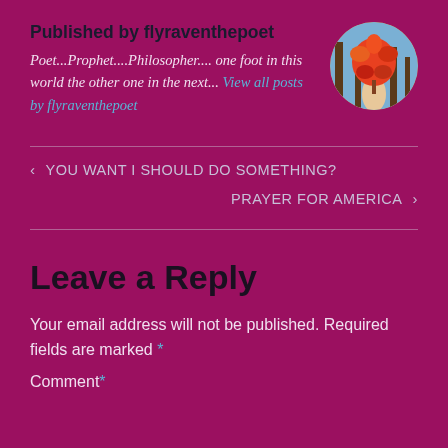Published by flyraventhepoet
Poet...Prophet....Philosopher.... one foot in this world the other one in the next... View all posts by flyraventhepoet
[Figure (photo): Circular avatar photo of a person holding a red/orange maple leaf against a forested background with blue sky]
‹ YOU WANT I SHOULD DO SOMETHING?
PRAYER FOR AMERICA ›
Leave a Reply
Your email address will not be published. Required fields are marked *
Comment *